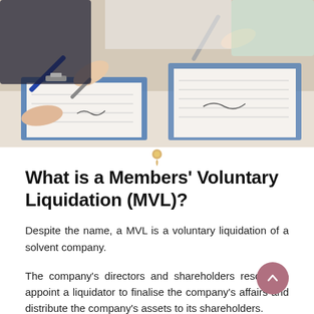[Figure (photo): Close-up photo of multiple people at a desk signing documents, with pens visible, on clipboards with papers.]
What is a Members' Voluntary Liquidation (MVL)?
Despite the name, a MVL is a voluntary liquidation of a solvent company.
The company's directors and shareholders resolve to appoint a liquidator to finalise the company's affairs and distribute the company's assets to its shareholders.